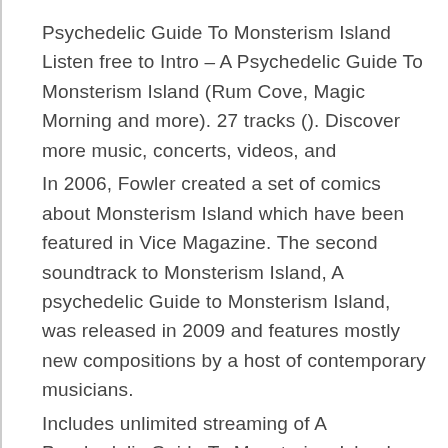Psychedelic Guide To Monsterism Island Listen free to Intro – A Psychedelic Guide To Monsterism Island (Rum Cove, Magic Morning and more). 27 tracks (). Discover more music, concerts, videos, and
In 2006, Fowler created a set of comics about Monsterism Island which have been featured in Vice Magazine. The second soundtrack to Monsterism Island, A psychedelic Guide to Monsterism Island, was released in 2009 and features mostly new compositions by a host of contemporary musicians.
Includes unlimited streaming of A Psychedelic Guide To Monsterism Island (Lo74) via the free Bandcamp app, plus high-quality download in MP3, FLAC and more.
2015-09-29 · Provided to YouTube by The